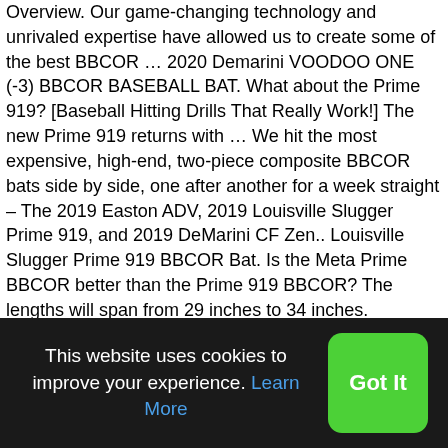Overview. Our game-changing technology and unrivaled expertise have allowed us to create some of the best BBCOR … 2020 Demarini VOODOO ONE (-3) BBCOR BASEBALL BAT. What about the Prime 919? [Baseball Hitting Drills That Really Work!] The new Prime 919 returns with … We hit the most expensive, high-end, two-piece composite BBCOR bats side by side, one after another for a week straight – The 2019 Easton ADV, 2019 Louisville Slugger Prime 919, and 2019 DeMarini CF Zen.. Louisville Slugger Prime 919 BBCOR Bat. Is the Meta Prime BBCOR better than the Prime 919 BBCOR? The lengths will span from 29 inches to 34 inches. Louisville Slugger's Prime baseball bats give players of all ages and strengths the boost they need to dominate the diamond. The 919 Louisville Slugger Prime for 2019 class tops out Slugger's baseball line. 2019 Louisville Slugger Prime 919 (-10) USA baseball bat is one of the most iconic USA bats that you can find on the market. This bat will be a drop 3 baseball bat that will be
This website uses cookies to improve your experience. Learn More